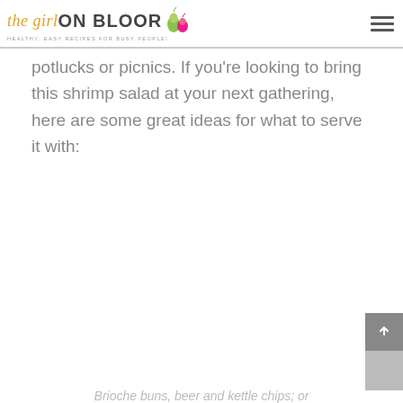the girl ON BLOOR — HEALTHY, EASY RECIPES FOR BUSY PEOPLE!
potlucks or picnics. If you're looking to bring this shrimp salad at your next gathering, here are some great ideas for what to serve it with:
Brioche buns, beer and kettle chips; or